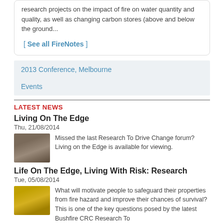research projects on the impact of fire on water quantity and quality, as well as changing carbon stores (above and below the ground...
[ See all FireNotes ]
2013 Conference, Melbourne
Events
LATEST NEWS
Living On The Edge
Thu, 21/08/2014
[Figure (photo): Thumbnail image of fire-affected road/forest scene]
Missed the last Research To Drive Change forum? Living on the Edge is available for viewing.
Life On The Edge, Living With Risk: Research
Tue, 05/08/2014
[Figure (photo): Thumbnail image of people in yellow rain gear]
What will motivate people to safeguard their properties from fire hazard and improve their chances of survival? This is one of the key questions posed by the latest Bushfire CRC Research To